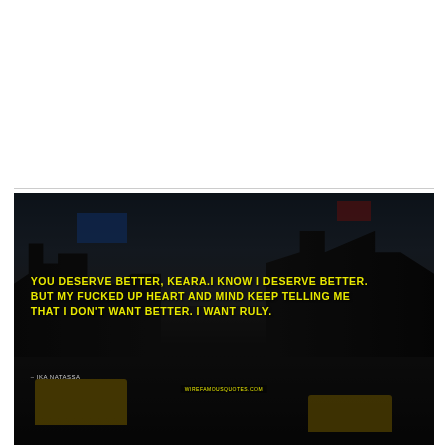[Figure (photo): Dark nighttime city street scene (New York City style) with yellow taxis, tall buildings with billboards, and overlaid quote text in yellow uppercase letters. Quote reads: 'You deserve better, Keara. I know I deserve better. But my fucked up heart and mind keep telling me that I don't want better. I want Ruly.' attributed to Ika Natassa. Watermark: wirefamousquotes.com]